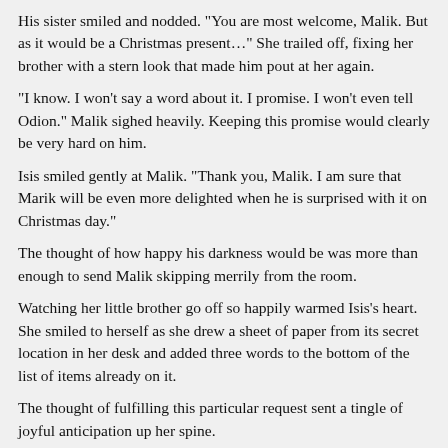His sister smiled and nodded. "You are most welcome, Malik. But as it would be a Christmas present…" She trailed off, fixing her brother with a stern look that made him pout at her again.
"I know. I won't say a word about it. I promise. I won't even tell Odion." Malik sighed heavily. Keeping this promise would clearly be very hard on him.
Isis smiled gently at Malik. "Thank you, Malik. I am sure that Marik will be even more delighted when he is surprised with it on Christmas day."
The thought of how happy his darkness would be was more than enough to send Malik skipping merrily from the room.
Watching her little brother go off so happily warmed Isis's heart. She smiled to herself as she drew a sheet of paper from its secret location in her desk and added three words to the bottom of the list of items already on it.
The thought of fulfilling this particular request sent a tingle of joyful anticipation up her spine.
She could hardly wait to see Odion's reaction when he saw 'Nutcracker Costume - spandex' written on the bottom of Malik and Marik's Christmas wish list.